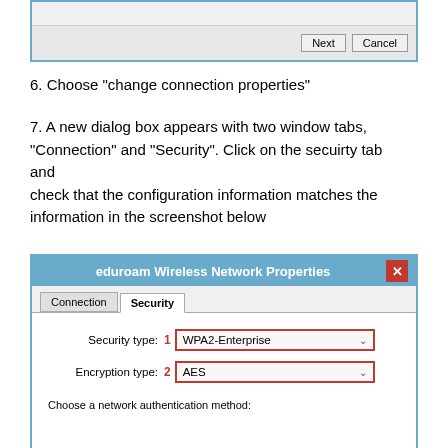[Figure (screenshot): Partial screenshot of a Windows dialog box showing Next and Cancel buttons at the bottom]
6. Choose "change connection properties"
7. A new dialog box appears with two window tabs, "Connection" and "Security". Click on the secuirty tab and check that the configuration information matches the information in the screenshot below
[Figure (screenshot): eduroam Wireless Network Properties dialog box showing Security tab with Security type set to WPA2-Enterprise (labeled 1) and Encryption type set to AES (labeled 2). Bottom shows 'Choose a network authentication method:' text.]